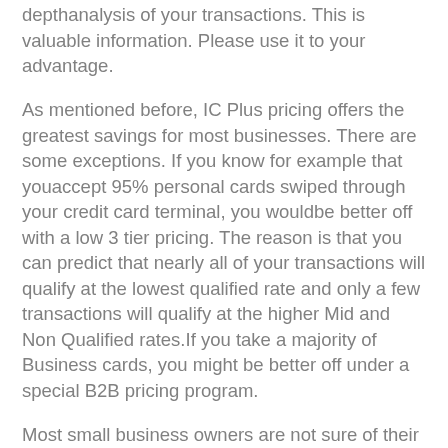depthanalysis of your transactions. This is valuable information. Please use it to your advantage.
As mentioned before, IC Plus pricing offers the greatest savings for most businesses. There are some exceptions. If you know for example that youaccept 95% personal cards swiped through your credit card terminal, you wouldbe better off with a low 3 tier pricing. The reason is that you can predict that nearly all of your transactions will qualify at the lowest qualified rate and only a few transactions will qualify at the higher Mid and Non Qualified rates.If you take a majority of Business cards, you might be better off under a special B2B pricing program.
Most small business owners are not sure of their card mix. Usually, the card mixis all across the board. In this